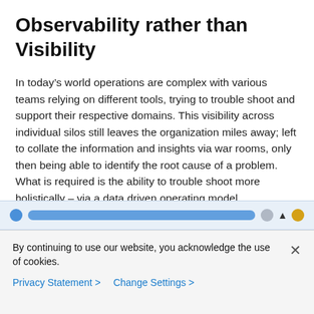Observability rather than Visibility
In today's world operations are complex with various teams relying on different tools, trying to trouble shoot and support their respective domains. This visibility across individual silos still leaves the organization miles away; left to collate the information and insights via war rooms, only then being able to identify the root cause of a problem. What is required is the ability to trouble shoot more holistically – via a data driven operating model.
[Figure (screenshot): Partial screenshot of a web application UI showing a blue navigation bar with icons]
By continuing to use our website, you acknowledge the use of cookies.
Privacy Statement >   Change Settings >